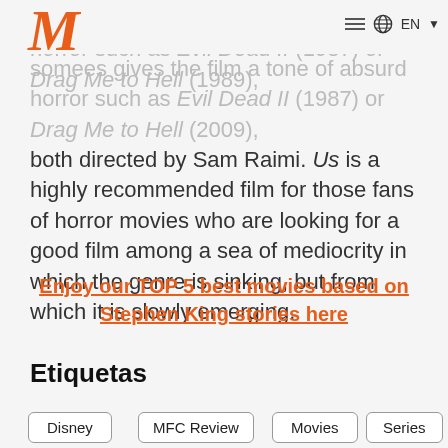M | EN
some gives the film a tone of absurd horror such as Evil Dead II (1987) or Drag Me to Hell (2009), both directed by Sam Raimi. Us is a highly recommended film for those fans of horror movies who are looking for a good film among a sea of mediocrity in which the genre is sinking, but from which it is slowly emerging.
Enjoy our TOP 5 best movies based on Stephen King stories here
Etiquetas
Disney
MFC Review
Movies
Series